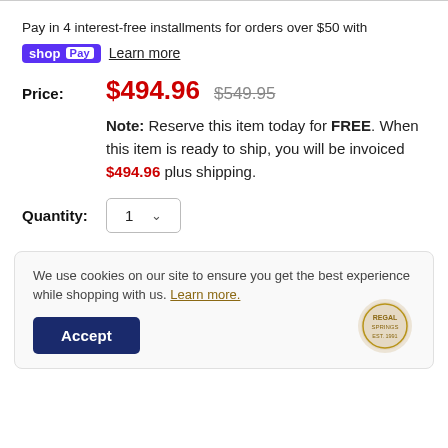Pay in 4 interest-free installments for orders over $50 with
shop Pay  Learn more
Price: $494.96  $549.95
Note: Reserve this item today for FREE. When this item is ready to ship, you will be invoiced $494.96 plus shipping.
Quantity: 1
We use cookies on our site to ensure you get the best experience while shopping with us. Learn more.
Accept